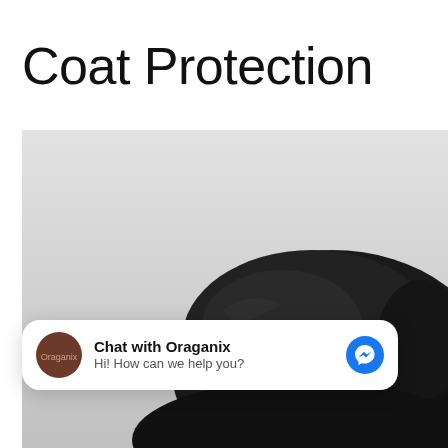Coat Protection
[Figure (photo): Close-up photo of a black dog's head against a light gray background, viewed from the side/top]
Chat with Oraganix
Hi! How can we help you?